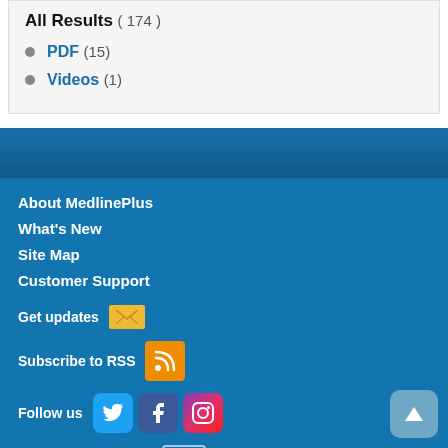All Results ( 174 )
PDF (15)
Videos (1)
About MedlinePlus
What's New
Site Map
Customer Support
Get updates
Subscribe to RSS
Follow us
Social Media Toolkit